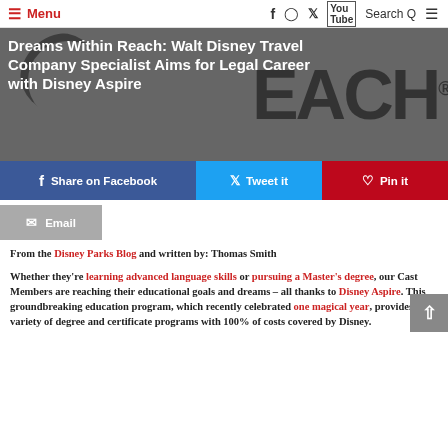Menu | Social icons | Search
[Figure (photo): Hero image with dark background and large stylized 'REACH' logo text, overlaid with article title in white bold text.]
Dreams Within Reach: Walt Disney Travel Company Specialist Aims for Legal Career with Disney Aspire
Share on Facebook | Tweet it | Pin it
Email
From the Disney Parks Blog and written by: Thomas Smith
Whether they're learning advanced language skills or pursuing a Master's degree, our Cast Members are reaching their educational goals and dreams – all thanks to Disney Aspire. This groundbreaking education program, which recently celebrated one magical year, provides a variety of degree and certificate programs with 100% of costs covered by Disney.